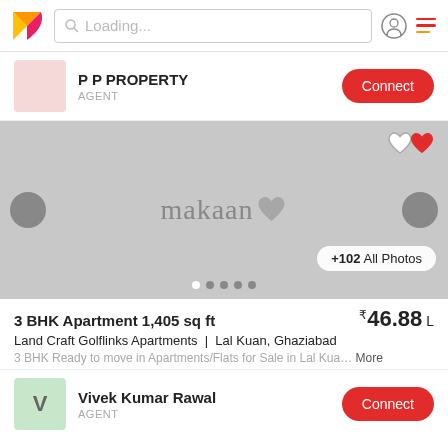Loading...
P P PROPERTY
AGENT
[Figure (photo): Property listing image with makaan.com watermark, navigation arrows, heart icons, and photo count button showing +102 All Photos]
3 BHK Apartment 1,405 sq ft | ₹46.88 L
Land Craft Golflinks Apartments | Lal Kuan, Ghaziabad
3 BHK Ready to move in Apartments/Flats for Sale in Lal Kua… More
Vivek Kumar Rawal
AGENT